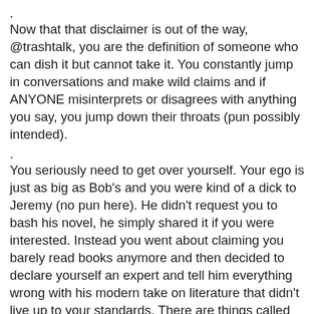.
Now that that disclaimer is out of the way, @trashtalk, you are the definition of someone who can dish it but cannot take it. You constantly jump in conversations and make wild claims and if ANYONE misinterprets or disagrees with anything you say, you jump down their throats (pun possibly intended).
.
You seriously need to get over yourself. Your ego is just as big as Bob's and you were kind of a dick to Jeremy (no pun here). He didn't request you to bash his novel, he simply shared it if you were interested. Instead you went about claiming you barely read books anymore and then decided to declare yourself an expert and tell him everything wrong with his modern take on literature that didn't live up to your standards. There are things called opinions, and it may shock you, but your's is not LAW. You have a mindset that everyone who disagrees with you is wrong and the biggest chip on your shoulder that I have ever had the misfortune to interact with and I just finally had it.
.
I'll go back to my cave and you'll go back to your soap box and the world will keep turning and nothing will matter, but I